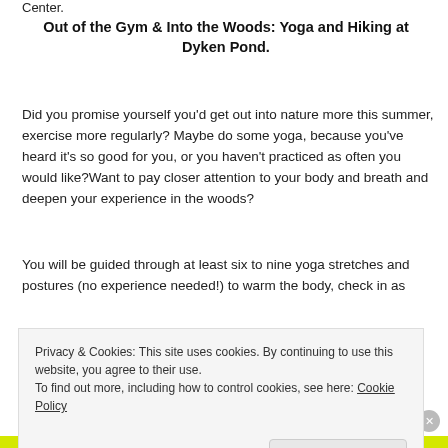Center.
Out of the Gym & Into the Woods: Yoga and Hiking at Dyken Pond.
Did you promise yourself you'd get out into nature more this summer, exercise more regularly? Maybe do some yoga, because you've heard it's so good for you, or you haven't practiced as often you would like?Want to pay closer attention to your body and breath and deepen your experience in the woods?
You will be guided through at least six to nine yoga stretches and postures (no experience needed!) to warm the body, check in as
Privacy & Cookies: This site uses cookies. By continuing to use this website, you agree to their use.
To find out more, including how to control cookies, see here: Cookie Policy
Close and accept